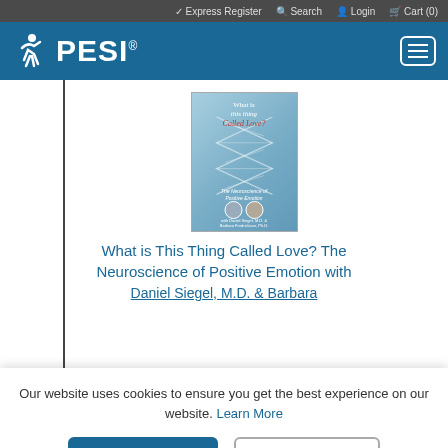✓ Express Register  🔍 Search  👤 Login  🛒 Cart (0)
[Figure (logo): PESI logo: stylized figure with PESI text in white on blue navigation bar]
[Figure (photo): Book cover: 'What is this thing Called Love? The Neuroscience of Positive Emotion' by Daniel Siegel, MD & Barbara Fredrickson, PhD, with DNA helix imagery on teal background]
What is This Thing Called Love? The Neuroscience of Positive Emotion with Daniel Siegel, M.D. & Barbara...
Our website uses cookies to ensure you get the best experience on our website. Learn More
OK, I GOT IT!
No thank you.